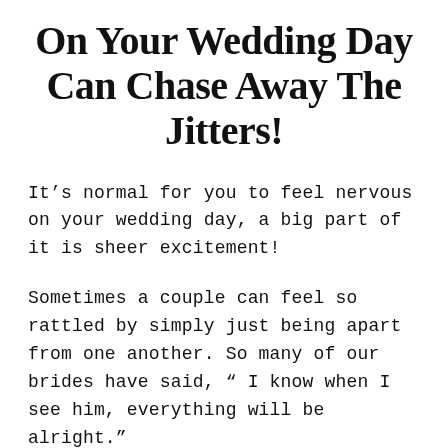On Your Wedding Day Can Chase Away The Jitters!
It’s normal for you to feel nervous on your wedding day, a big part of it is sheer excitement!
Sometimes a couple can feel so rattled by simply just being apart from one another. So many of our brides have said, “ I know when I see him, everything will be alright.”
And you know what? That bride is 100% correct.